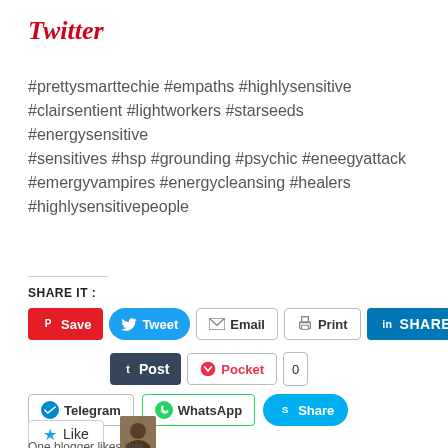Twitter
#prettysmarttechie #empaths #highlysensitive #clairsentient #lightworkers #starseeds #energysensitive #sensitives #hsp #grounding #psychic #eneegyattack #emergyvampires #energycleansing #healers #highlysensitivepeople
SHARE IT :
[Figure (screenshot): Social share buttons row 1: Pinterest Save (red), Twitter Tweet (blue), Email, Print, LinkedIn SHARE (dark blue)]
[Figure (screenshot): Social share buttons row 2: Tumblr Post (dark), Pocket (with count 0)]
[Figure (screenshot): Social share buttons row 3: Telegram, WhatsApp, Skype Share (cyan)]
Like
One blogger likes this.